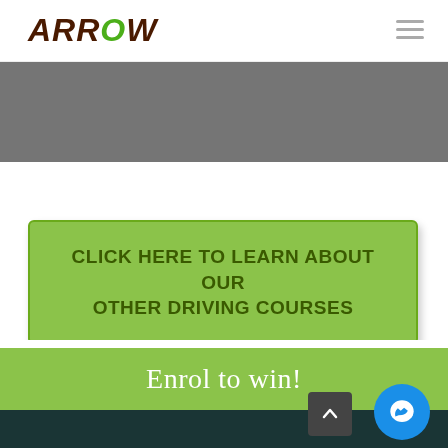ARROW
[Figure (screenshot): Gray background section, partial view of a web page]
CLICK HERE TO LEARN ABOUT OUR OTHER DRIVING COURSES
Enrol to win!
[Figure (other): Messenger chat bubble icon and scroll-to-top button]